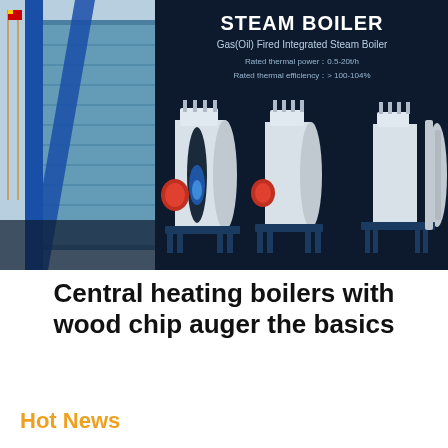[Figure (photo): Dark navy banner showing a modern industrial building with flagpoles on the left side and three gas/oil fired integrated steam boilers on the right, with specifications listed above them. Text overlay includes 'STEAM BOILER', 'Gas(Oil) Fired Integrated Steam Boiler', 'Rated thermal power: 0.5-20t/h', 'Rated thermal efficiency: > 100-104%']
Central heating boilers with wood chip auger the basics
Hot News